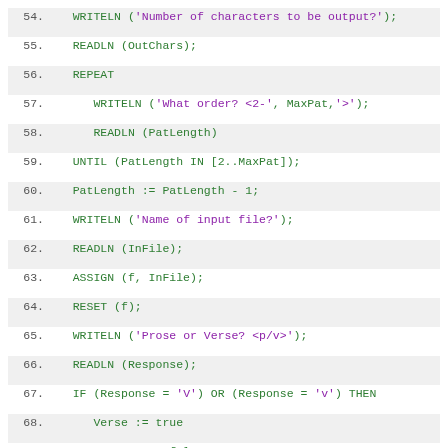54.    WRITELN ('Number of characters to be output?');
55.    READLN (OutChars);
56.    REPEAT
57.       WRITELN ('What order? <2-', MaxPat,'>');
58.       READLN (PatLength)
59.    UNTIL (PatLength IN [2..MaxPat]);
60.    PatLength := PatLength - 1;
61.    WRITELN ('Name of input file?');
62.    READLN (InFile);
63.    ASSIGN (f, InFile);
64.    RESET (f);
65.    WRITELN ('Prose or Verse? <p/v>');
66.    READLN (Response);
67.    IF (Response = 'V') OR (Response = 'v') THEN
68.       Verse := true
69.    ELSE Verse := false
70. END; {Procedure InParams}
71.